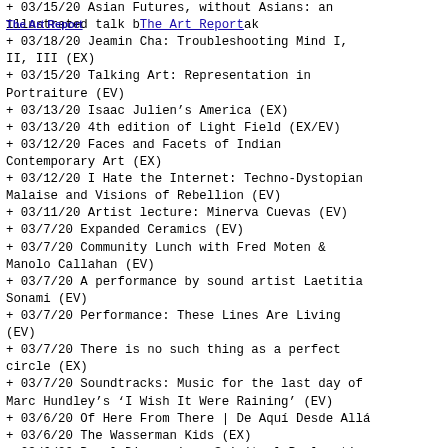The Art Report
+ 03/15/20 Asian Futures, without Asians: an illustrated talk by Aria Mak
+ 03/18/20 Jeamin Cha: Troubleshooting Mind I, II, III (EX)
+ 03/15/20 Talking Art: Representation in Portraiture (EV)
+ 03/13/20 Isaac Julien's America (EX)
+ 03/13/20 4th edition of Light Field (EX/EV)
+ 03/12/20 Faces and Facets of Indian Contemporary Art (EX)
+ 03/12/20 I Hate the Internet: Techno-Dystopian Malaise and Visions of Rebellion (EV)
+ 03/11/20 Artist lecture: Minerva Cuevas (EV)
+ 03/7/20 Expanded Ceramics (EV)
+ 03/7/20 Community Lunch with Fred Moten & Manolo Callahan (EV)
+ 03/7/20 A performance by sound artist Laetitia Sonami (EV)
+ 03/7/20 Performance: These Lines Are Living (EV)
+ 03/7/20 There is no such thing as a perfect circle (EX)
+ 03/7/20 Soundtracks: Music for the last day of Marc Hundley's 'I Wish It Were Raining' (EV)
+ 03/6/20 Of Here From There | De Aquí Desde Allá
+ 03/6/20 The Wasserman Kids (EX)
+ 03/6/20 Panel Discussion: Spiritual Reclamation as a Revolutionary Act (EV)
+ 03/6/20 It's a Moment (EV)